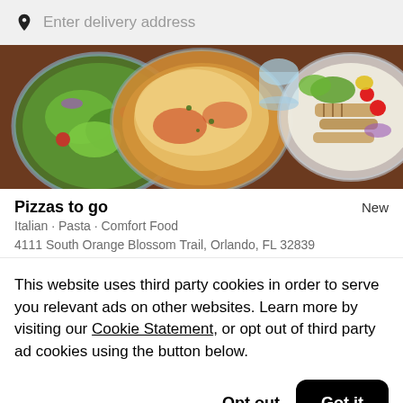Enter delivery address
[Figure (photo): Overhead food photo showing multiple plates on a brown wooden table: a green salad with tomatoes and onions, a pasta or lasagna dish with cheese, a glass of water, and a grilled chicken salad with cherry tomatoes.]
Pizzas to go
New
Italian • Pasta • Comfort Food
4111 South Orange Blossom Trail, Orlando, FL 32839
This website uses third party cookies in order to serve you relevant ads on other websites. Learn more by visiting our Cookie Statement, or opt out of third party ad cookies using the button below.
Opt out
Got it